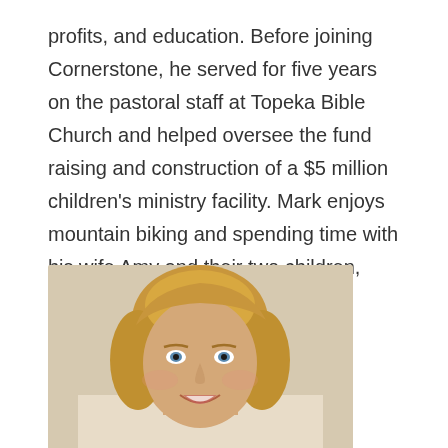profits, and education. Before joining Cornerstone, he served for five years on the pastoral staff at Topeka Bible Church and helped oversee the fund raising and construction of a $5 million children's ministry facility. Mark enjoys mountain biking and spending time with his wife Amy and their two children, Mya and Karsten.
[Figure (photo): Portrait photograph of a woman with blonde hair and blue eyes, smiling, against a light beige background. The photo is cropped at approximately mid-chest level.]